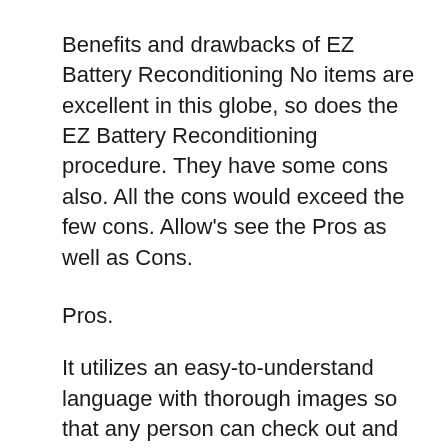Benefits and drawbacks of EZ Battery Reconditioning No items are excellent in this globe, so does the EZ Battery Reconditioning procedure. They have some cons also. All the cons would exceed the few cons. Allow's see the Pros as well as Cons.
Pros.
It utilizes an easy-to-understand language with thorough images so that any person can check out and recognize quickly.
EZ Battery Reconditioning step by step guides are very easy to comply with.